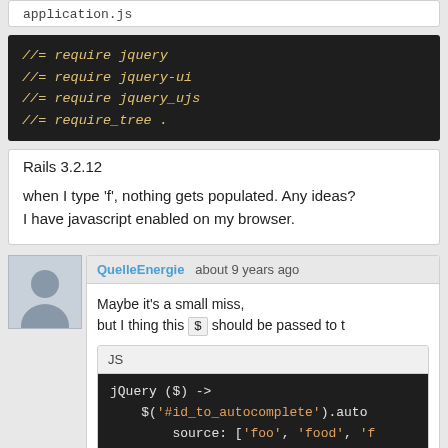application.js
[Figure (screenshot): Dark code block showing //= require jquery, //= require jquery-ui, //= require jquery_ujs, //= require_tree .]
Rails 3.2.12
when I type 'f', nothing gets populated. Any ideas? I have javascript enabled on my browser.
QuelleEnergie  about 9 years ago
Maybe it's a small miss, but I thing this $ should be passed to t
[Figure (screenshot): JS code block showing: jQuery ($) -> $('#id_to_autocomplete').auto  source: ['foo', 'food', 'fo]
Anyway, thanks you for your screencast